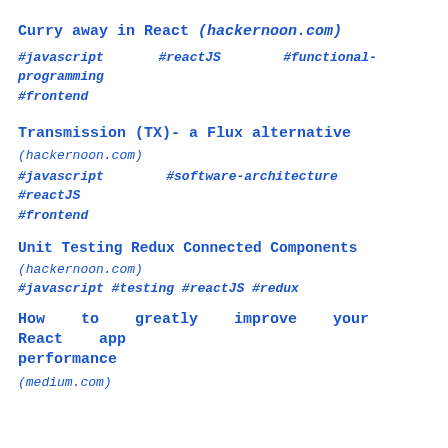Curry away in React (hackernoon.com)
#javascript      #reactJS       #functional-programming
#frontend
Transmission (TX)- a Flux alternative
(hackernoon.com)
#javascript       #software-architecture        #reactJS
#frontend
Unit Testing Redux Connected Components
(hackernoon.com)
#javascript #testing #reactJS #redux
How   to   greatly   improve   your   React   app performance
(medium.com)